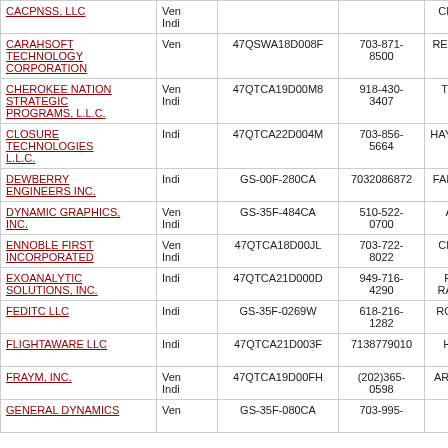| Vendor Name | Type | Contract Number | Phone | Location |
| --- | --- | --- | --- | --- |
| CACPNSS, LLC | Vend Indi |  |  | CHANTILLY, VA |
| CARAHSOFT TECHNOLOGY CORPORATION | Vend | 47QSWA18D008F | 703-871-8500 | RESTON, VA |
| CHEROKEE NATION STRATEGIC PROGRAMS, L.L.C. | Vend Indi | 47QTCA19D00M8 | 918-430-3407 | TULSA, OK |
| CLOSURE TECHNOLOGIES L.L.C. | Indi | 47QTCA22D004M | 703-856-5664 | HAYMARKET, VA |
| DEWBERRY ENGINEERS INC. | Indi | GS-00F-280CA | 7032086872 | FAIRFAX, VA |
| DYNAMIC GRAPHICS, INC. | Vend Indi | GS-35F-484CA | 510-522-0700 | ALAMEDA, CA |
| ENNOBLE FIRST INCORPORATED | Vend Indi | 47QTCA18D00JL | 703-722-8022 | CHANTILLY, VA |
| EXOANALYTIC SOLUTIONS, INC. | Indi | 47QTCA21D000D | 949-716-4290 | FOOTHILL RANCH, CA |
| FEDITC LLC | Indi | GS-35F-0269W | 618-216-1282 | ROCKVILLE, MD |
| FLIGHTAWARE LLC | Indi | 47QTCA21D003F | 7138779010 | HOUSTON, TX |
| FRAYM, INC. | Vend Indi | 47QTCA19D00FH | (202)365-0598 | ARLINGTON, VA |
| GENERAL DYNAMICS | Vend | GS-35F-080CA | 703-995- | FALLS CHURCH |